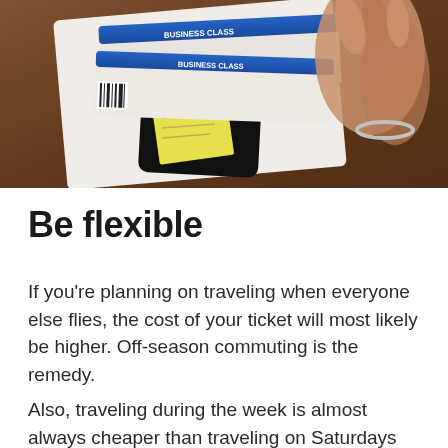[Figure (photo): A hand holding airline boarding passes (FL589 NYC TO SEA, Business Class) above a smartphone and sticky notes on a wooden table.]
Be flexible
If you're planning on traveling when everyone else flies, the cost of your ticket will most likely be higher. Off-season commuting is the remedy.
Also, traveling during the week is almost always cheaper than traveling on Saturdays and Sundays.